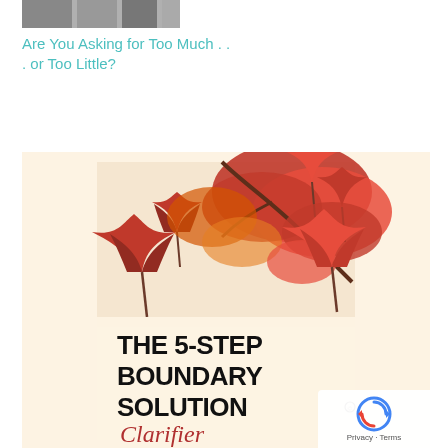[Figure (photo): Partial view of an autumn/fall image at top showing red and orange leaves]
Are You Asking for Too Much . . . or Too Little?
In "Boundaries"
[Figure (illustration): Book cover for 'The 5-Step Boundary Solution Clarifier' showing red autumn maple leaves on a branch against a cream background, with bold black text at the bottom reading 'THE 5-STEP BOUNDARY SOLUTION' and cursive red text reading 'Clarifier']